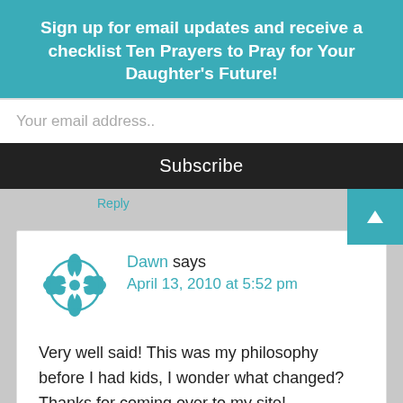Sign up for email updates and receive a checklist Ten Prayers to Pray for Your Daughter's Future!
Your email address..
Subscribe
Reply
Dawn says
April 13, 2010 at 5:52 pm
Very well said! This was my philosophy before I had kids, I wonder what changed? Thanks for coming over to my site!
http://momseason.blogspot.com/
Reply